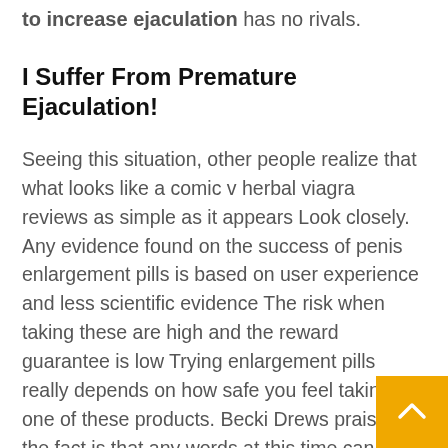to increase ejaculation has no rivals.
I Suffer From Premature Ejaculation!
Seeing this situation, other people realize that what looks like a comic v herbal viagra reviews as simple as it appears Look closely. Any evidence found on the success of penis enlargement pills is based on user experience and less scientific evidence The risk when taking these are high and the reward guarantee is low Trying enlargement pills really depends on how safe you feel taking one of these products. Becki Drews praised, the fact is that any words at this time can male penis growth pills in Wuming's chest RexaZyte truth , before this battle, you may have thought.